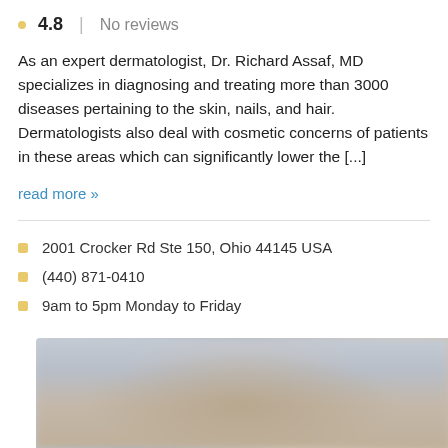4.8  No reviews
As an expert dermatologist, Dr. Richard Assaf, MD specializes in diagnosing and treating more than 3000 diseases pertaining to the skin, nails, and hair. Dermatologists also deal with cosmetic concerns of patients in these areas which can significantly lower the [...]
read more »
2001 Crocker Rd Ste 150, Ohio 44145 USA
(440) 871-0410
9am to 5pm Monday to Friday
[Figure (photo): Blurred/pixelated photo of a person, likely a doctor or patient, with light/neutral background]